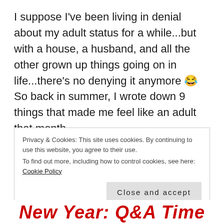I suppose I've been living in denial about my adult status for a while...but with a house, a husband, and all the other grown up things going on in life...there's no denying it anymore 😂 So back in summer, I wrote down 9 things that made me feel like an adult that month.
Privacy & Cookies: This site uses cookies. By continuing to use this website, you agree to their use. To find out more, including how to control cookies, see here: Cookie Policy
Close and accept
New Year: Q&A Time